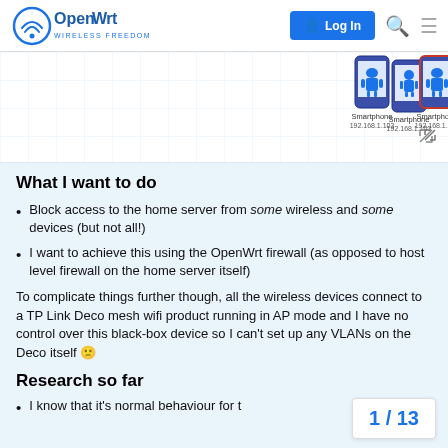OpenWrt | Log In
[Figure (network-graph): Partial network diagram showing two smartphones (192.168.1.103, 192.168.1.104) and a Windows laptop (192.168.1.106) connected in a network topology with grid background]
What I want to do
Block access to the home server from some wireless and some devices (but not all!)
I want to achieve this using the OpenWrt firewall (as opposed to host level firewall on the home server itself)
To complicate things further though, all the wireless devices connect to a TP Link Deco mesh wifi product running in AP mode and I have no control over this black-box device so I can't set up any VLANs on the Deco itself 🙁
Research so far
I know that it's normal behaviour for t
1 / 13